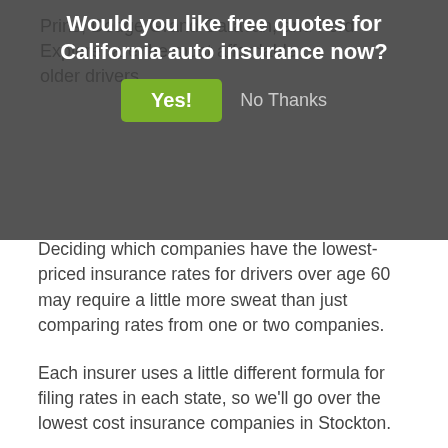[Figure (screenshot): Modal popup overlay with dark semi-transparent background asking 'Would you like free quotes for California auto insurance now?' with a green 'Yes!' button and a 'No Thanks' text link]
Prins, Dodge Grand Caravan, and Ford Explorer are the most affordable ... older drivers.
Deciding which companies have the lowest-priced insurance rates for drivers over age 60 may require a little more sweat than just comparing rates from one or two companies.
Each insurer uses a little different formula for filing rates in each state, so we'll go over the lowest cost insurance companies in Stockton.